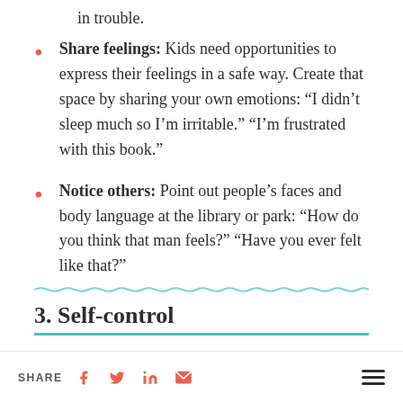in trouble.
Share feelings: Kids need opportunities to express their feelings in a safe way. Create that space by sharing your own emotions: “I didn’t sleep much so I’m irritable.” “I’m frustrated with this book.”
Notice others: Point out people’s faces and body language at the library or park: “How do you think that man feels?” “Have you ever felt like that?”
3. Self-control
SHARE